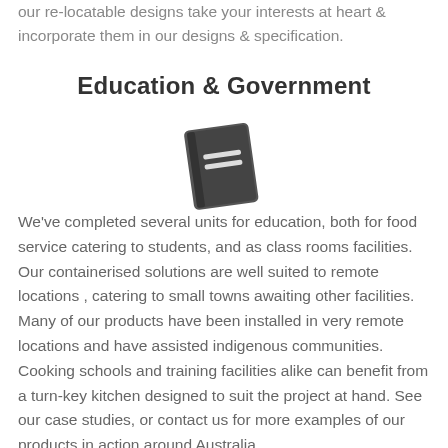our re-locatable designs take your interests at heart & incorporate them in our designs & specification.
Education & Government
[Figure (illustration): Book/notebook icon in dark grey]
We've completed several units for education, both for food service catering to students, and as class rooms facilities. Our containerised solutions are well suited to remote locations , catering to small towns awaiting other facilities. Many of our products have been installed in very remote locations and have assisted indigenous communities. Cooking schools and training facilities alike can benefit from a turn-key kitchen designed to suit the project at hand. See our case studies, or contact us for more examples of our products in action around Australia